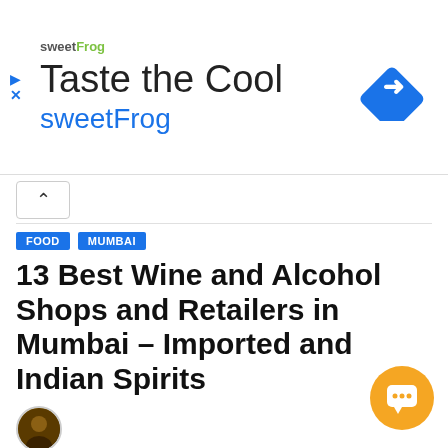[Figure (screenshot): SweetFrog advertisement banner with logo, 'Taste the Cool' headline, 'sweetFrog' subtext in blue, and a blue diamond navigation icon on the right.]
13 Best Wine and Alcohol Shops and Retailers in Mumbai – Imported and Indian Spirits
[Figure (photo): Small circular author avatar photo showing a person.]
Alcohol and spirits are an integral part of our lives; many of them are relished while others are consumed t... However, even with such widespread usage, it is difficult to find a wide variety when heading to some